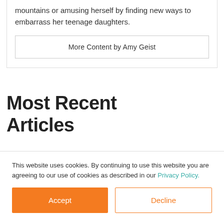mountains or amusing herself by finding new ways to embarrass her teenage daughters.
More Content by Amy Geist
Most Recent Articles
[Figure (logo): Chili pepper icon + plus sign + Rev logo]
[Figure (photo): Article thumbnail image - white rounded device with orange/red circular element]
[Figure (other): Orange square block]
This website uses cookies. By continuing to use this website you are agreeing to our use of cookies as described in our Privacy Policy.
Accept
Decline